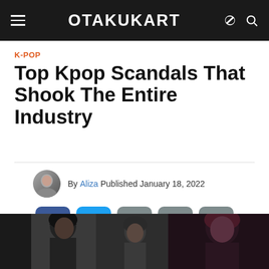OTAKUKART
K-POP
Top Kpop Scandals That Shook The Entire Industry
By Aliza Published January 18, 2022
[Figure (other): Social share buttons: Facebook, Twitter, Link, Comment, More]
[Figure (photo): Hero image showing K-pop figures/celebrities at the bottom of the page]